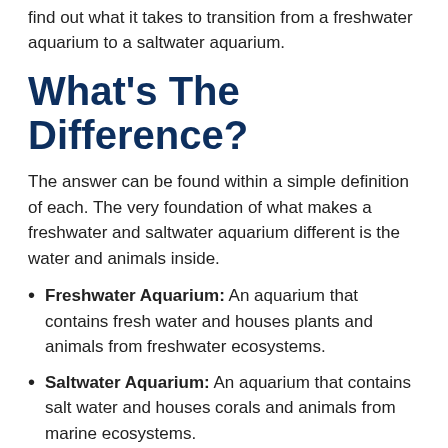find out what it takes to transition from a freshwater aquarium to a saltwater aquarium.
What's The Difference?
The answer can be found within a simple definition of each. The very foundation of what makes a freshwater and saltwater aquarium different is the water and animals inside.
Freshwater Aquarium: An aquarium that contains fresh water and houses plants and animals from freshwater ecosystems.
Saltwater Aquarium: An aquarium that contains salt water and houses corals and animals from marine ecosystems.